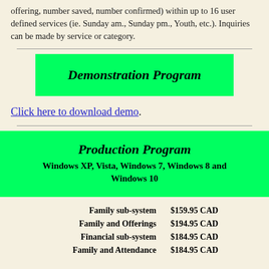offering, number saved, number confirmed) within up to 16 user defined services (ie. Sunday am., Sunday pm., Youth, etc.). Inquiries can be made by service or category.
[Figure (other): Green banner box with bold italic text 'Demonstration Program']
Click here to download demo.
[Figure (other): Green banner box with bold italic text 'Production Program' and subtitle 'Windows XP, Vista, Windows 7, Windows 8 and Windows 10']
| Family sub-system | $159.95 CAD |
| Family and Offerings | $194.95 CAD |
| Financial sub-system | $184.95 CAD |
| Family and Attendance | $184.95 CAD |